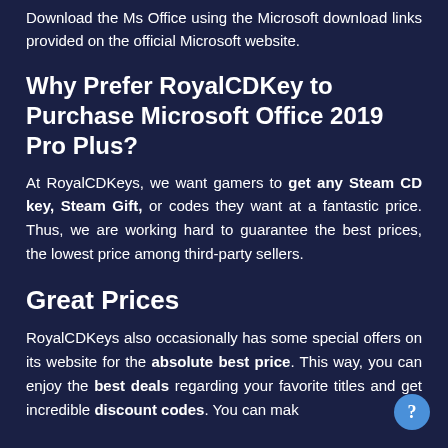Download the Ms Office using the Microsoft download links provided on the official Microsoft website.
Why Prefer RoyalCDKey to Purchase Microsoft Office 2019 Pro Plus?
At RoyalCDKeys, we want gamers to get any Steam CD key, Steam Gift, or codes they want at a fantastic price. Thus, we are working hard to guarantee the best prices, the lowest price among third-party sellers.
Great Prices
RoyalCDKeys also occasionally has some special offers on its website for the absolute best price. This way, you can enjoy the best deals regarding your favorite titles and get incredible discount codes. You can mak